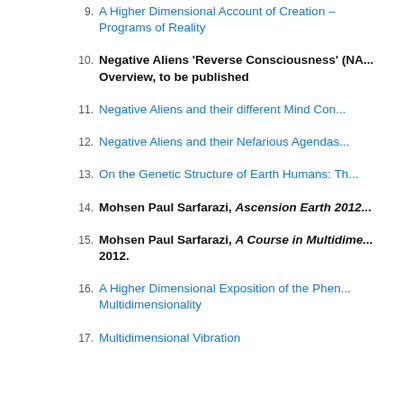9. A Higher Dimensional Account of Creation – Programs of Reality
10. Negative Aliens 'Reverse Consciousness' (NA...) Overview, to be published
11. Negative Aliens and their different Mind Con...
12. Negative Aliens and their Nefarious Agendas...
13. On the Genetic Structure of Earth Humans: Th...
14. Mohsen Paul Sarfarazi, Ascension Earth 2012...
15. Mohsen Paul Sarfarazi, A Course in Multidime... 2012.
16. A Higher Dimensional Exposition of the Phen... Multidimensionality
17. Multidimensional Vibration